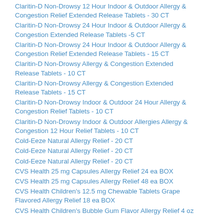Claritin-D Non-Drowsy 12 Hour Indoor & Outdoor Allergy & Congestion Relief Extended Release Tablets - 30 CT
Claritin-D Non-Drowsy 24 Hour Indoor & Outdoor Allergy & Congestion Extended Release Tablets -5 CT
Claritin-D Non-Drowsy 24 Hour Indoor & Outdoor Allergy & Congestion Relief Extended Release Tablets - 15 CT
Claritin-D Non-Drowsy Allergy & Congestion Extended Release Tablets - 10 CT
Claritin-D Non-Drowsy Allergy & Congestion Extended Release Tablets - 15 CT
Claritin-D Non-Drowsy Indoor & Outdoor 24 Hour Allergy & Congestion Relief Tablets - 10 CT
Claritin-D Non-Drowsy Indoor & Outdoor Allergies Allergy & Congestion 12 Hour Relief Tablets - 10 CT
Cold-Eeze Natural Allergy Relief - 20 CT
Cold-Eeze Natural Allergy Relief - 20 CT
Cold-Eeze Natural Allergy Relief - 20 CT
CVS Health 25 mg Capsules Allergy Relief 24 ea BOX
CVS Health 25 mg Capsules Allergy Relief 48 ea BOX
CVS Health Children's 12.5 mg Chewable Tablets Grape Flavored Allergy Relief 18 ea BOX
CVS Health Children's Bubble Gum Flavor Allergy Relief 4 oz